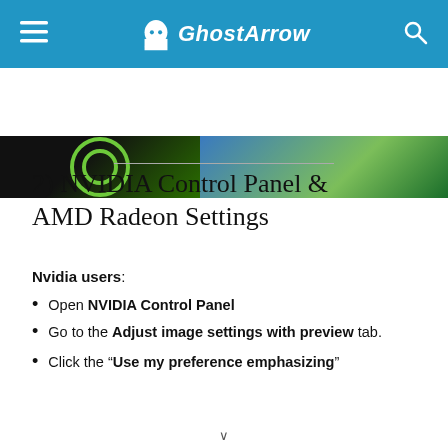GhostArrow
[Figure (photo): Partial image strip showing dark background with green circular logo on left and outdoor/mountain scene on right]
2) NVIDIA Control Panel & AMD Radeon Settings
Nvidia users:
Open NVIDIA Control Panel
Go to the Adjust image settings with preview tab.
Click the “Use my preference emphasizing”
[Figure (screenshot): Video player placeholder showing 'Baldur's Gate 3: Of Valour and Lore...' title and 'No compatible source was found' message]